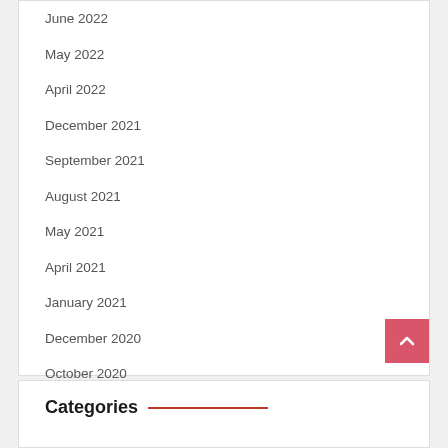June 2022
May 2022
April 2022
December 2021
September 2021
August 2021
May 2021
April 2021
January 2021
December 2020
October 2020
September 2020
May 2020
Categories